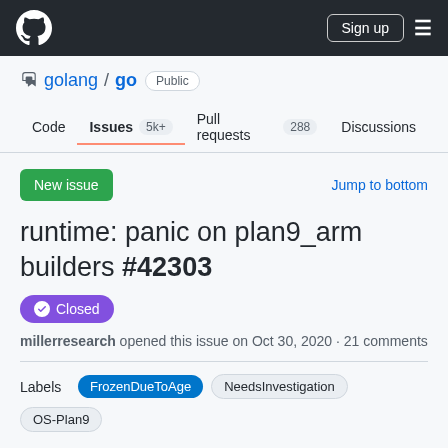GitHub header navigation with logo, Sign up button, and hamburger menu
golang / go Public
Code | Issues 5k+ | Pull requests 288 | Discussions
New issue
Jump to bottom
runtime: panic on plan9_arm builders #42303
Closed
millerresearch opened this issue on Oct 30, 2020 · 21 comments
Labels   FrozenDueToAge   NeedsInvestigation   OS-Plan9